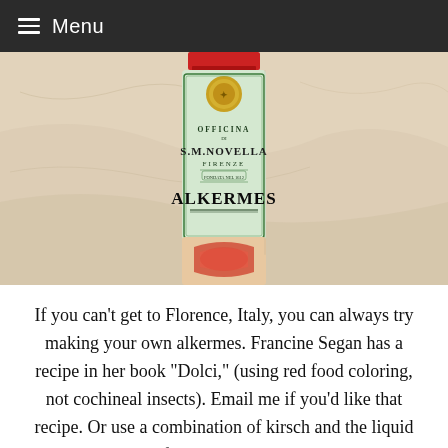Menu
[Figure (photo): A bottle of Officina di S.M. Novella Firenze Alkermes liqueur, with a green ornate label, photographed on a marble surface.]
If you can't get to Florence, Italy, you can always try making your own alkermes. Francine Segan has a recipe in her book “Dolci,” (using red food coloring, not cochineal insects). Email me if you’d like that recipe. Or use a combination of kirsch and the liquid from maraschino